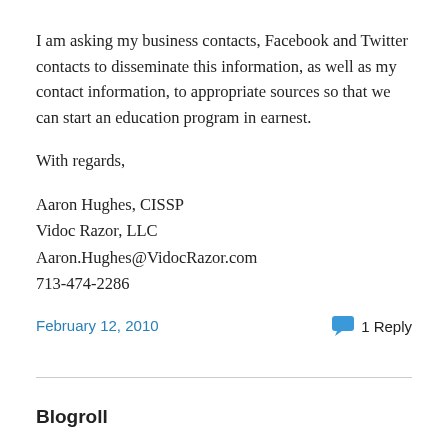I am asking my business contacts, Facebook and Twitter contacts to disseminate this information, as well as my contact information, to appropriate sources so that we can start an education program in earnest.
With regards,
Aaron Hughes, CISSP
Vidoc Razor, LLC
Aaron.Hughes@VidocRazor.com
713-474-2286
February 12, 2010
1 Reply
Blogroll